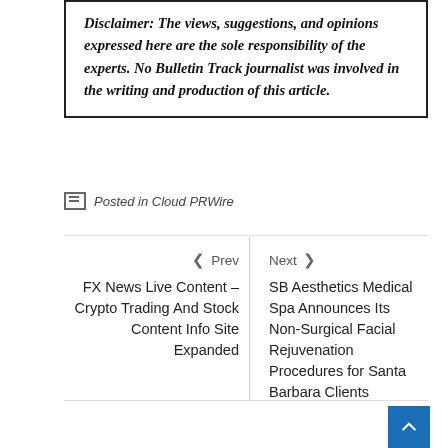Disclaimer: The views, suggestions, and opinions expressed here are the sole responsibility of the experts. No Bulletin Track journalist was involved in the writing and production of this article.
Posted in Cloud PRWire
< Prev
FX News Live Content – Crypto Trading And Stock Content Info Site Expanded
Next >
SB Aesthetics Medical Spa Announces Its Non-Surgical Facial Rejuvenation Procedures for Santa Barbara Clients